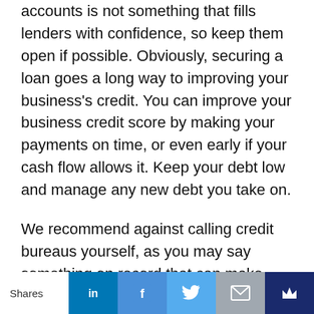accounts is not something that fills lenders with confidence, so keep them open if possible. Obviously, securing a loan goes a long way to improving your business's credit. You can improve your business credit score by making your payments on time, or even early if your cash flow allows it. Keep your debt low and manage any new debt you take on.
We recommend against calling credit bureaus yourself, as you may say something on record that can make repairing your business credit even more difficult. At North Shore Advisory, we have 30 years of experience working with the bureaus and fixing business credit. Business credit repair is a tedious...
Shares | LinkedIn | Facebook | Twitter | Email | Crown